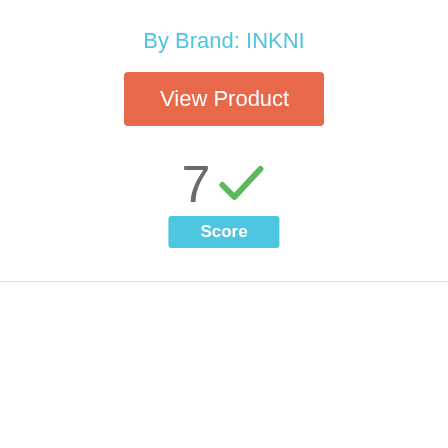By Brand: INKNI
View Product
[Figure (infographic): Score display showing number 7 with a green checkmark and a blue 'Score' badge below]
[Figure (infographic): Circular badge with number 10 inside, outlined in light blue/teal color]
[Figure (photo): HP 63 tri-color ink cartridge product photo]